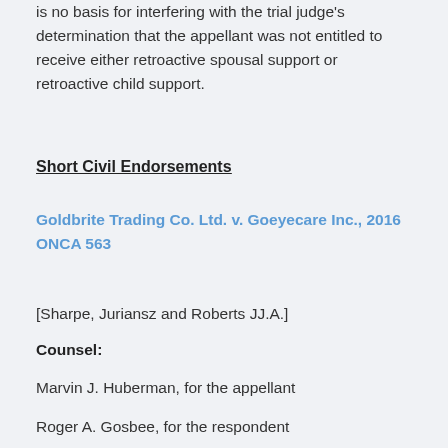is no basis for interfering with the trial judge's determination that the appellant was not entitled to receive either retroactive spousal support or retroactive child support.
Short Civil Endorsements
Goldbrite Trading Co. Ltd. v. Goeyecare Inc., 2016 ONCA 563
[Sharpe, Juriansz and Roberts JJ.A.]
Counsel:
Marvin J. Huberman, for the appellant
Roger A. Gosbee, for the respondent